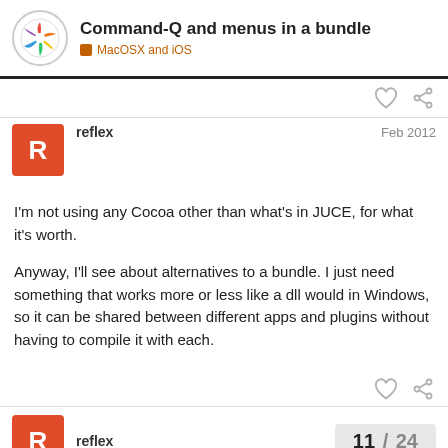Command-Q and menus in a bundle — MacOSX and iOS
reflex   Feb 2012
I'm not using any Cocoa other than what's in JUCE, for what it's worth.
Anyway, I'll see about alternatives to a bundle. I just need something that works more or less like a dll would in Windows, so it can be shared between different apps and plugins without having to compile it with each.
reflex   11 / 24